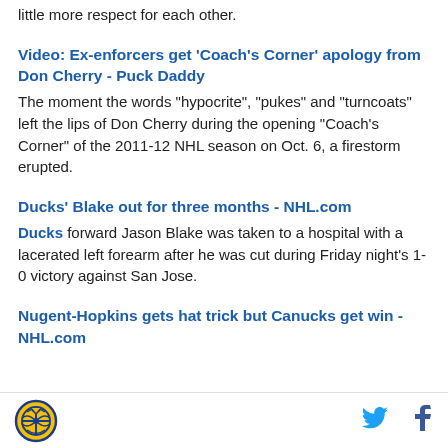little more respect for each other.
Video: Ex-enforcers get 'Coach's Corner' apology from Don Cherry - Puck Daddy
The moment the words "hypocrite", "pukes" and "turncoats" left the lips of Don Cherry during the opening "Coach's Corner" of the 2011-12 NHL season on Oct. 6, a firestorm erupted.
Ducks' Blake out for three months - NHL.com
Ducks forward Jason Blake was taken to a hospital with a lacerated left forearm after he was cut during Friday night's 1-0 victory against San Jose.
Nugent-Hopkins gets hat trick but Canucks get win - NHL.com